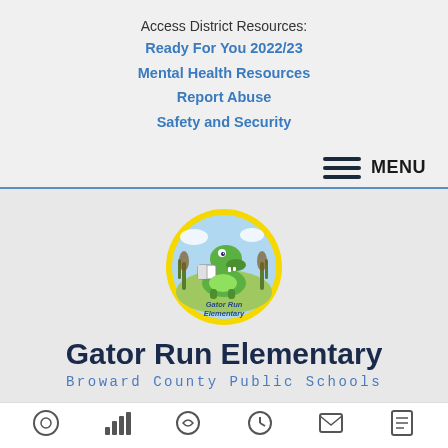Access District Resources:
Ready For You 2022/23
Mental Health Resources
Report Abuse
Safety and Security
MENU
[Figure (logo): Gator Run Elementary school logo: cartoon alligator holding a book, inside a yellow circle with text 'Gator Run Elementary']
Gator Run Elementary
Broward County Public Schools